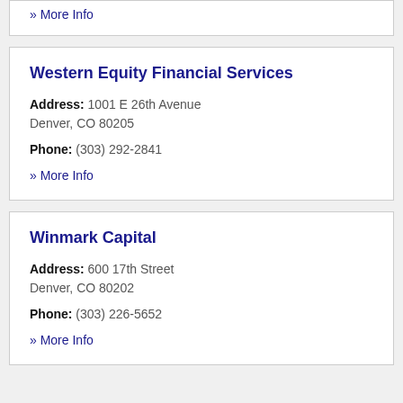» More Info
Western Equity Financial Services
Address: 1001 E 26th Avenue
Denver, CO 80205
Phone: (303) 292-2841
» More Info
Winmark Capital
Address: 600 17th Street
Denver, CO 80202
Phone: (303) 226-5652
» More Info